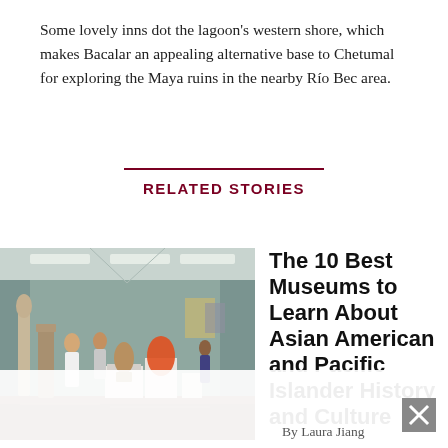Some lovely inns dot the lagoon's western shore, which makes Bacalar an appealing alternative base to Chetumal for exploring the Maya ruins in the nearby Río Bec area.
RELATED STORIES
[Figure (photo): Interior of a museum gallery with sage-green walls, sculptures on white pedestals, and visitors walking through the space.]
The 10 Best Museums to Learn About Asian American and Pacific Islander History and Culture
By Laura Jiang